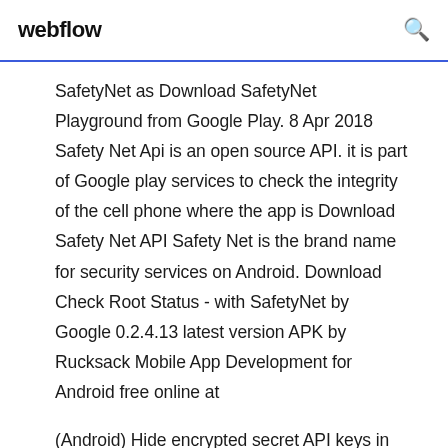webflow
SafetyNet as Download SafetyNet Playground from Google Play. 8 Apr 2018 Safety Net Api is an open source API. it is part of Google play services to check the integrity of the cell phone where the app is Download Safety Net API Safety Net is the brand name for security services on Android. Download Check Root Status - with SafetyNet by Google 0.2.4.13 latest version APK by Rucksack Mobile App Development for Android free online at
(Android) Hide encrypted secret API keys in C/C++ code, retrieve and decrypt them via JNI. Google SafetyNet APIs example. -